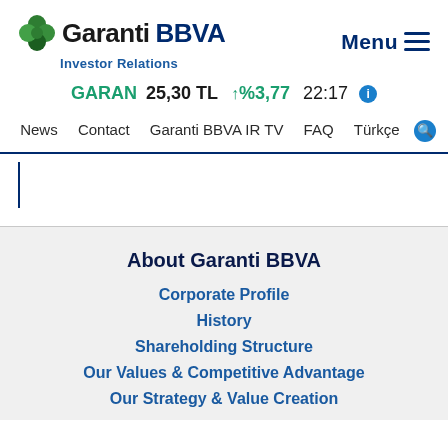[Figure (logo): Garanti BBVA Investor Relations logo with green clover icon]
Menu
GARAN 25,30 TL ↑%3,77 22:17
News  Contact  Garanti BBVA IR TV  FAQ  Türkçe
About Garanti BBVA
Corporate Profile
History
Shareholding Structure
Our Values & Competitive Advantage
Our Strategy & Value Creation